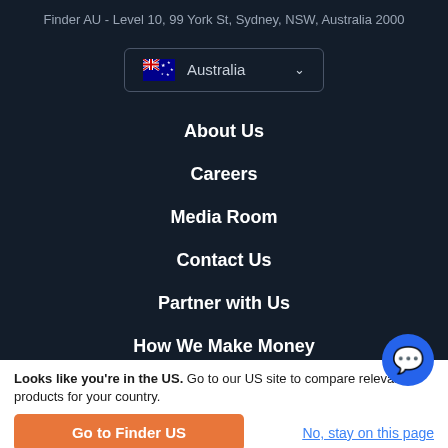Finder AU - Level 10, 99 York St, Sydney, NSW, Australia 2000
[Figure (infographic): Australia country selector dropdown with Australian flag icon and chevron]
About Us
Careers
Media Room
Contact Us
Partner with Us
How We Make Money
Looks like you're in the US. Go to our US site to compare relevant products for your country.
Go to Finder US
No, stay on this page